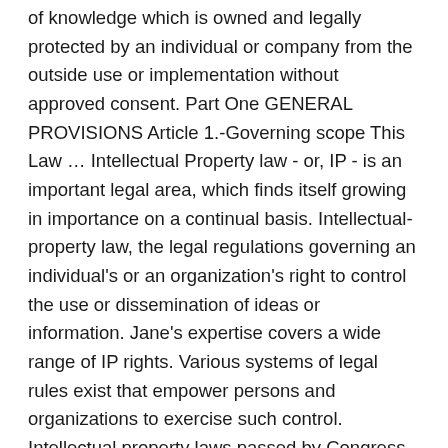of knowledge which is owned and legally protected by an individual or company from the outside use or implementation without approved consent. Part One GENERAL PROVISIONS Article 1.-Governing scope This Law … Intellectual Property law - or, IP - is an important legal area, which finds itself growing in importance on a continual basis. Intellectual-property law, the legal regulations governing an individual's or an organization's right to control the use or dissemination of ideas or information. Jane's expertise covers a wide range of IP rights. Various systems of legal rules exist that empower persons and organizations to exercise such control. Intellectual property laws passed by Congress are overseen by two government agencies: the U.S. Patent and Trademark Office and the U.S. We've been ranked in the top 10 for intellectual property by US News & World Report for 29 consecutive years – every year since the rankings began. Section 8 also gives Congress the power